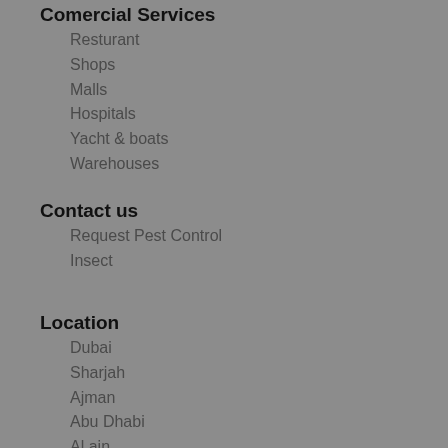Comercial Services
Resturant
Shops
Malls
Hospitals
Yacht & boats
Warehouses
Contact us
Request Pest Control
Insect
Location
Dubai
Sharjah
Ajman
Abu Dhabi
Al ain